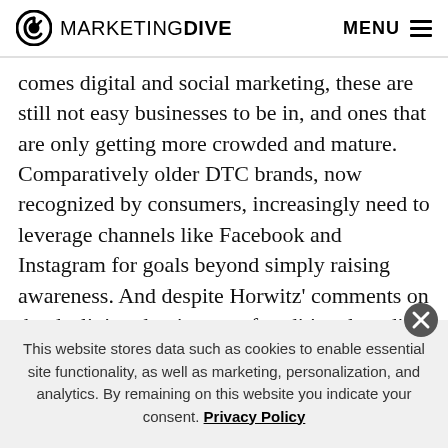MARKETING DIVE   MENU
comes digital and social marketing, these are still not easy businesses to be in, and ones that are only getting more crowded and mature. Comparatively older DTC brands, now recognized by consumers, increasingly need to leverage channels like Facebook and Instagram for goals beyond simply raising awareness. And despite Horwitz' comments on the declining dominance of traditional media, Hubble, like many DTC brands present at the IAB summit, is thinking more about TV as a means
This website stores data such as cookies to enable essential site functionality, as well as marketing, personalization, and analytics. By remaining on this website you indicate your consent. Privacy Policy